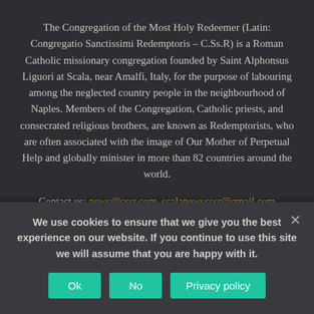The Congregation of the Most Holy Redeemer (Latin: Congregatio Sanctissimi Redemptoris – C.Ss.R) is a Roman Catholic missionary congregation founded by Saint Alphonsus Liguori at Scala, near Amalfi, Italy, for the purpose of labouring among the neglected country people in the neighbourhood of Naples. Members of the Congregation, Catholic priests, and consecrated religious brothers, are known as Redemptorists, who are often associated with the image of Our Mother of Perpetual Help and globally minister in more than 82 countries around the world.
Contact us: news@cssr.com, scalanewscssr@gmail.com
[Figure (other): Social media icon buttons for Facebook, Flickr, Twitter, and YouTube]
We use cookies to ensure that we give you the best experience on our website. If you continue to use this site we will assume that you are happy with it.